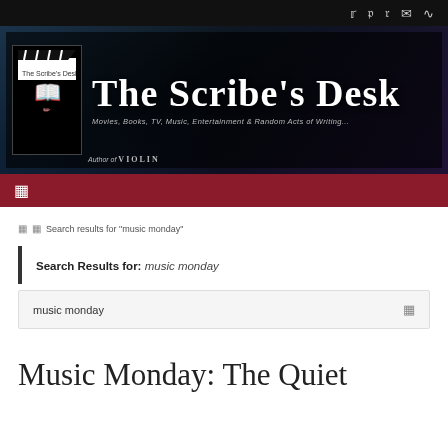[Figure (screenshot): Website header with social media icons (Twitter, Facebook, Pinterest, email, RSS) on dark top bar]
[Figure (logo): The Scribe's Desk banner logo with clapperboard icon and title text. Subtitle: Movies, Books, TV, Music, Entertainment & Random Acts of Writing... Author of VIOLIN]
[Figure (screenshot): Dark red navigation bar with hamburger menu icon]
Search results for "music monday"
Search Results for: music monday
music monday
Music Monday: The Quiet